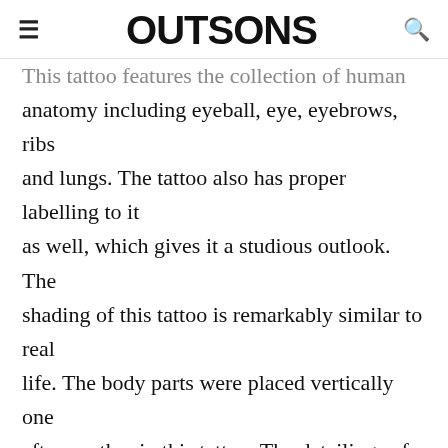≡  OUTSONS  🔍
This tattoo features the collection of human anatomy including eyeball, eye, eyebrows, ribs and lungs. The tattoo also has proper labelling to it as well, which gives it a studious outlook. The shading of this tattoo is remarkably similar to real life. The body parts were placed vertically one after another in this tattoo. The detailings of this tattoo makes this tattoo eccentric. You can notice the veins in the lungs even with the monochrome shading of this tattoo. The ribs too have perfect detailing and so does the eyeball to give it a more